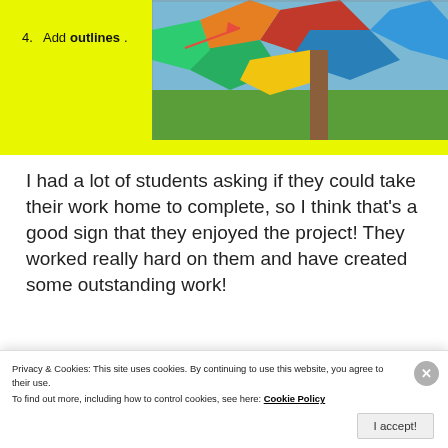[Figure (illustration): Yellow background panel showing a colorful student artwork — a cubist-style figure/tree painting with bright red, blue, green, yellow shapes. A red arrow points to the artwork from the list item '4. Add outlines.']
4. Add outlines.
I had a lot of students asking if they could take their work home to complete, so I think that's a good sign that they enjoyed the project! They worked really hard on them and have created some outstanding work!
Advertisements
[Figure (screenshot): Dark navy advertisement banner reading 'Opinions. We all have them!' with WordPress and another circular logo on the right.]
Privacy & Cookies: This site uses cookies. By continuing to use this website, you agree to their use.
To find out more, including how to control cookies, see here: Cookie Policy